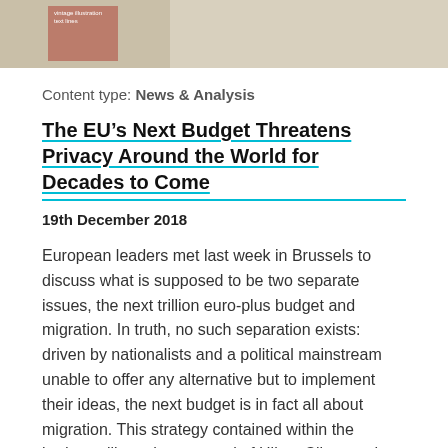[Figure (illustration): Partial image strip at top of page showing a vintage-style illustration or comic book artwork with a reddish box on the left side containing text, and a sketch of figures/car on the right side.]
Content type: News & Analysis
The EU's Next Budget Threatens Privacy Around the World for Decades to Come
19th December 2018
European leaders met last week in Brussels to discuss what is supposed to be two separate issues, the next trillion euro-plus budget and migration. In truth, no such separation exists: driven by nationalists and a political mainstream unable to offer any alternative but to implement their ideas, the next budget is in fact all about migration. This strategy contained within the budget will get the approval of Hilary Clinton, who recently told the Guardian that ‘Europe needs to get a handle on…